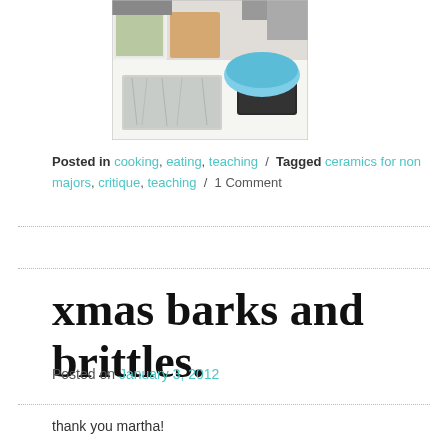[Figure (photo): A photo showing food preparation on a white table: aluminum foil pan, containers with food, and a blue-lidded pot, with people's arms visible in the background.]
Posted in cooking, eating, teaching / Tagged ceramics for non majors, critique, teaching / 1 Comment
xmas barks and brittles.
Posted on January 3, 2012
thank you martha!